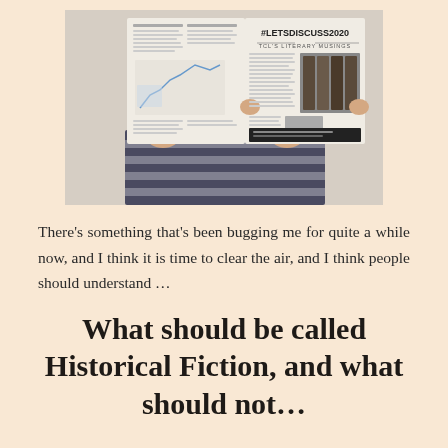[Figure (photo): A person holding open a newspaper. The left side shows columns of text and a chart. The right side shows '#LETSDISCUSS2020' and 'TCL'S LITERARY MUSINGS' with a photo of old books.]
There's something that's been bugging me for quite a while now, and I think it is time to clear the air, and I think people should understand ...
What should be called Historical Fiction, and what should not...